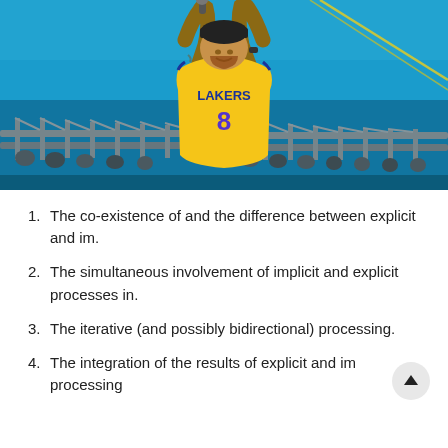[Figure (photo): A performer wearing a yellow Lakers #8 jersey holding a microphone on stage with arms raised, against a blue backdrop with stage truss lighting equipment visible.]
1. The co-existence of and the difference between explicit and im.
2. The simultaneous involvement of implicit and explicit processes in.
3. The iterative (and possibly bidirectional) processing.
4. The integration of the results of explicit and im processing